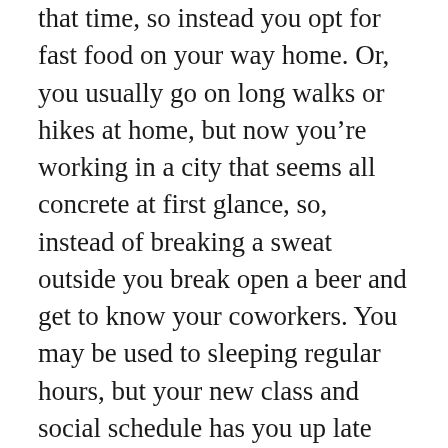that time, so instead you opt for fast food on your way home. Or, you usually go on long walks or hikes at home, but now you're working in a city that seems all concrete at first glance, so, instead of breaking a sweat outside you break open a beer and get to know your coworkers. You may be used to sleeping regular hours, but your new class and social schedule has you up late some nights and up early other mornings.
All of this is to be expected, and so you'll need to take a mental step back from the excitement of moving to your new place and ask yourself the best way to a healthy lifestyle that incorporates all of the fun newness you're experiencing here.